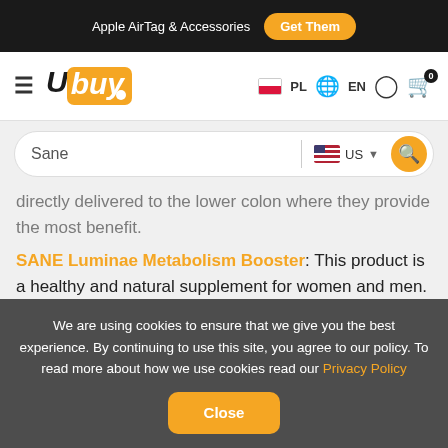Apple AirTag & Accessories  Get Them
[Figure (logo): Ubuy e-commerce logo with navigation icons: hamburger menu, PL flag, EN globe, user icon, cart with 0 badge]
Sane  US (search bar)
directly delivered to the lower colon where they provide the most benefit.
SANE Luminae Metabolism Booster: This product is a healthy and natural supplement for women and men. It is a clinically proven product that aids metabolism and restores the natural function to burn fat effectively. This metabolism booster can increase fat burning by up to 24% with safe and natural nutrients and amino acids. The 7-Keto DHEA promotes lean body mass and also helps to build muscle. It
We are using cookies to ensure that we give you the best experience. By continuing to use this site, you agree to our policy. To read more about how we use cookies read our Privacy Policy  Close